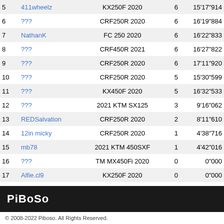| # | Name | Bike | Laps | Time |
| --- | --- | --- | --- | --- |
| 5 | 411wheelz | KX250F 2020 | 6 | 15'17"914 |
| 6 | ??? | CRF250R 2020 | 6 | 16'19"884 |
| 7 | NathanK | FC 250 2020 | 6 | 16'22"833 |
| 8 | ??? | CRF450R 2021 | 6 | 16'27"822 |
| 9 | ??? | CRF250R 2020 | 6 | 17'11"920 |
| 10 | ??? | CRF250R 2020 | 5 | 15'30"599 |
| 11 | ??? | KX450F 2020 | 5 | 16'32"533 |
| 12 | ??? | 2021 KTM SX125 | 3 | 9'16"062 |
| 13 | REDSalvation | CRF250R 2020 | 2 | 8'11"610 |
| 14 | 12in micky | CRF250R 2020 | 1 | 4'38"716 |
| 15 | mb78 | 2021 KTM 450SXF | 1 | 4'42"016 |
| 16 | ??? | TM MX450Fi 2020 | 0 | 0"000 |
| 17 | Alfie.cl9 | KX250F 2020 | 0 | 0"000 |
| 18 | Roderick197 | CRF250R 2020 | 0 | 0"000 |
| 19 | ??? | 2021 KTM 250SXF | 0 | 0"000 |
| 20 | Alfie.cl9 | 2021 KTM 450SXF | 0 | 0"000 |
| 21 | SAPPHIRE | KX250F 2020 | 0 | 0"000 |
| 22 | nibby | CRF450R 2021 | 0 | 0"000 |
| 23 | Kh Blax | YZ250F 2020 | 0 | 0"000 |
| 24 | ??? | 2021 KTM 250SXF | 0 | 0"000 |
| 25 | Hurlz | AceMoto | CRF250R 2020 | 0 | 0"000 |
| 26 | zeven | FC 250 2020 | 0 | 0"000 |
PiBo5o
© 2008-2022 Piboso. All Rights Reserved.